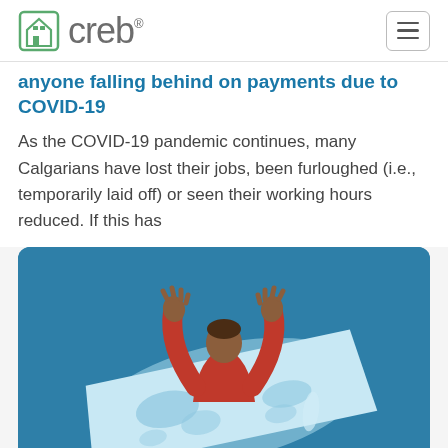creb®
anyone falling behind on payments due to COVID-19
As the COVID-19 pandemic continues, many Calgarians have lost their jobs, been furloughed (i.e., temporarily laid off) or seen their working hours reduced. If this has
[Figure (illustration): Illustration of a person in a red sweater with arms raised above their head, appearing to sink into or be overwhelmed by a large paper document (symbolizing financial debt/bills), set against a teal/blue background.]